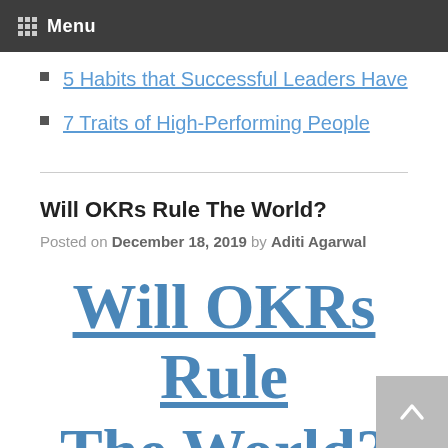Menu
5 Habits that Successful Leaders Have
7 Traits of High-Performing People
Will OKRs Rule The World?
Posted on December 18, 2019 by Aditi Agarwal
Will OKRs Rule The World?